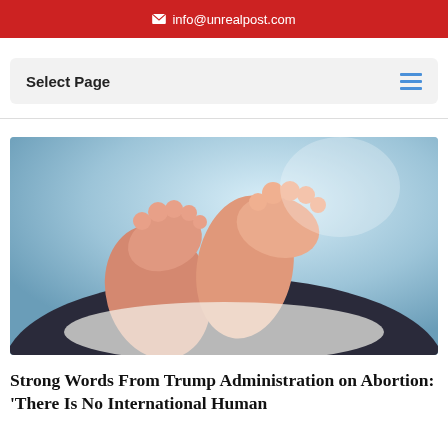✉ info@unrealpost.com
Select Page
[Figure (photo): Close-up photo of newborn baby feet resting on a dark surface with a soft blue background]
Strong Words From Trump Administration on Abortion: 'There Is No International Human